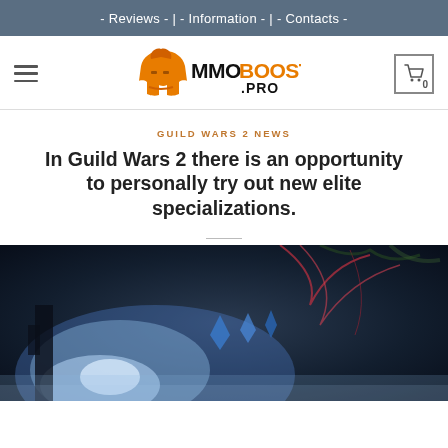- Reviews - | - Information - | - Contacts -
[Figure (logo): MMOBoost.Pro logo with orange spartan helmet and bold stylized text 'MMOBOOST.PRO']
GUILD WARS 2 NEWS
In Guild Wars 2 there is an opportunity to personally try out new elite specializations.
[Figure (photo): Fantasy game scene with dark background, blue glowing magical energy, red energy tendrils, and mystical forest elements from Guild Wars 2]